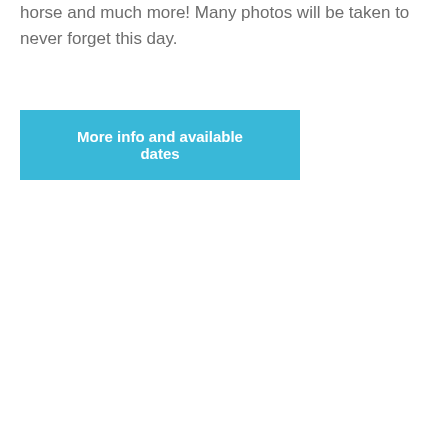horse and much more! Many photos will be taken to never forget this day.
More info and available dates